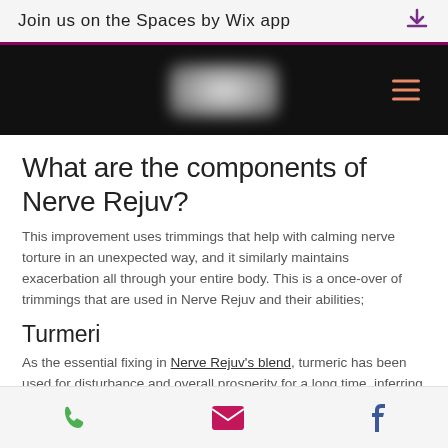Join us on the Spaces by Wix app
[Figure (screenshot): Dark navigation banner with blurred logo center and salmon/orange hamburger menu icon on the right]
What are the components of Nerve Rejuv?
This improvement uses trimmings that help with calming nerve torture in an unexpected way, and it similarly maintains exacerbation all through your entire body. This is a once-over of trimmings that are used in Nerve Rejuv and their abilities;
Turmeri
As the essential fixing in Nerve Rejuv's blend, turmeric has been used for disturbance and overall prosperity for a long time, inferring that a more
Phone | Email | Facebook